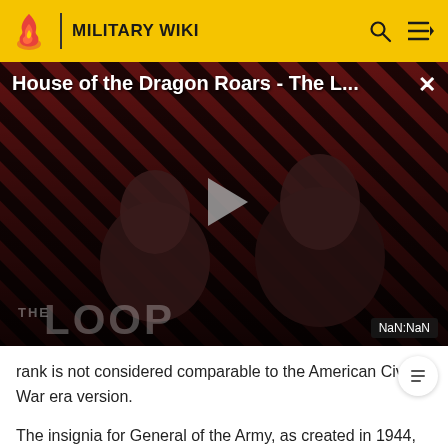MILITARY WIKI
[Figure (screenshot): Video thumbnail for 'House of the Dragon Roars - The L...' with THE LOOP branding, diagonal red and black stripes background, play button overlay, person silhouette, NaN:NaN timer badge, and close X button]
rank is not considered comparable to the American Civil War era version.
The insignia for General of the Army, as created in 1944, consisted of five stars in a pentagonal pattern, with points touching. The five officers who held the 1944...